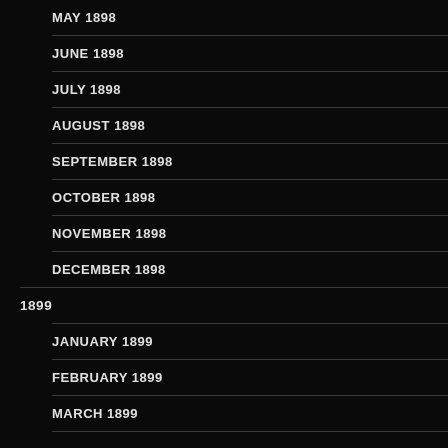MAY 1898
JUNE 1898
JULY 1898
AUGUST 1898
SEPTEMBER 1898
OCTOBER 1898
NOVEMBER 1898
DECEMBER 1898
1899
JANUARY 1899
FEBRUARY 1899
MARCH 1899